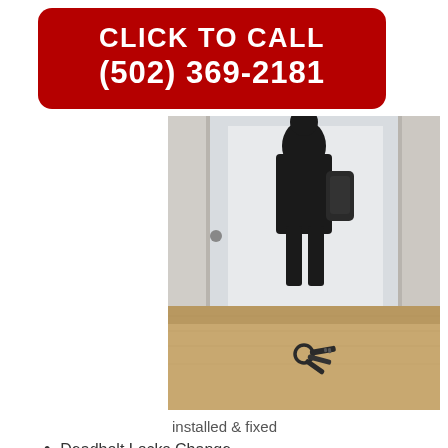CLICK TO CALL
(502) 369-2181
[Figure (photo): A locksmith or person visible as a silhouette entering a doorway, with keys on a wooden table in the foreground.]
installed & fixed
Deadbolt Locks Change
Installed & Repair
Master Key System Services